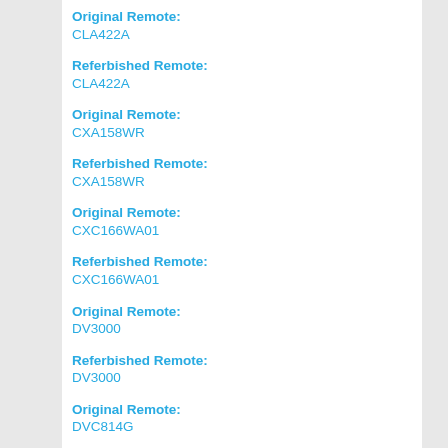Original Remote:
CLA422A
Referbished Remote:
CLA422A
Original Remote:
CXA158WR
Referbished Remote:
CXA158WR
Original Remote:
CXC166WA01
Referbished Remote:
CXC166WA01
Original Remote:
DV3000
Referbished Remote:
DV3000
Original Remote:
DVC814G
Referbished Remote:
DVC814G
Original Remote:
DVC8600